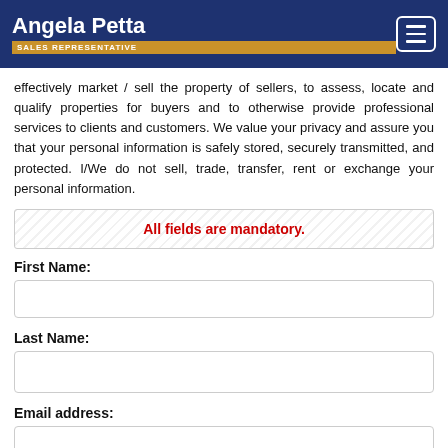Angela Petta — SALES REPRESENTATIVE
effectively market / sell the property of sellers, to assess, locate and qualify properties for buyers and to otherwise provide professional services to clients and customers. We value your privacy and assure you that your personal information is safely stored, securely transmitted, and protected. I/We do not sell, trade, transfer, rent or exchange your personal information.
All fields are mandatory.
First Name:
Last Name:
Email address: